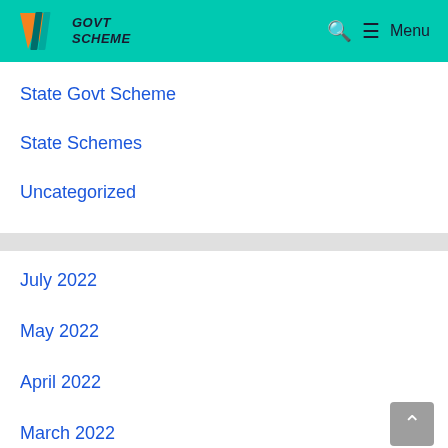GOVT SCHEME — Menu
State Govt Scheme
State Schemes
Uncategorized
July 2022
May 2022
April 2022
March 2022
February 2022